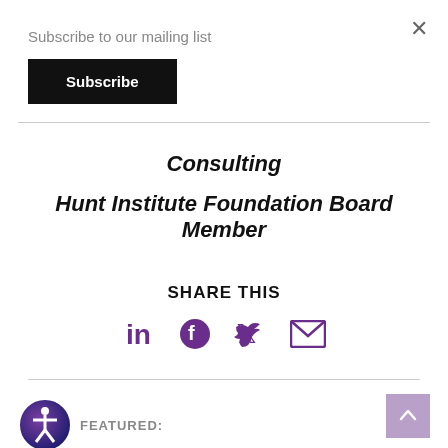Subscribe to our mailing list
Subscribe
Consulting
Hunt Institute Foundation Board Member
SHARE THIS
[Figure (infographic): Social share icons: LinkedIn, Facebook, Twitter, Email in purple]
FEATURED:
[Figure (infographic): Accessibility icon (person in circle) and back-to-top arrow button]